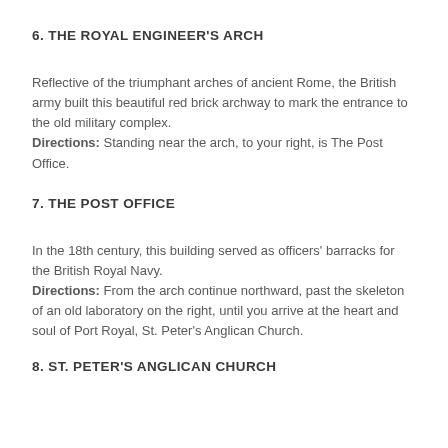6. THE ROYAL ENGINEER'S ARCH
Reflective of the triumphant arches of ancient Rome, the British army built this beautiful red brick archway to mark the entrance to the old military complex.
Directions: Standing near the arch, to your right, is The Post Office.
7. THE POST OFFICE
In the 18th century, this building served as officers' barracks for the British Royal Navy.
Directions: From the arch continue northward, past the skeleton of an old laboratory on the right, until you arrive at the heart and soul of Port Royal, St. Peter's Anglican Church.
8. ST. PETER'S ANGLICAN CHURCH